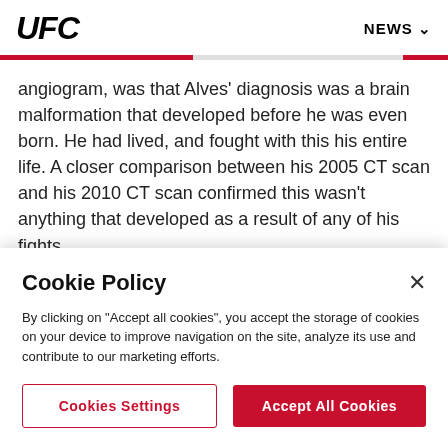UFC  NEWS
angiogram, was that Alves' diagnosis was a brain malformation that developed before he was even born. He had lived, and fought with this his entire life. A closer comparison between his 2005 CT scan and his 2010 CT scan confirmed this wasn't anything that developed as a result of any of his fights.
Alves was happy, but was still frustrated. Frustrated that he
Cookie Policy
By clicking on "Accept all cookies", you accept the storage of cookies on your device to improve navigation on the site, analyze its use and contribute to our marketing efforts.
Cookies Settings  Accept All Cookies